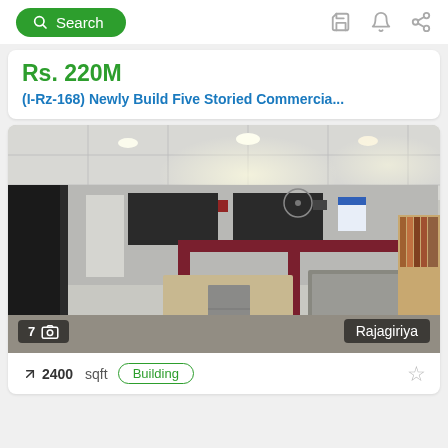Search (navbar with save, alert, share icons)
Rs. 220M
(I-Rz-168) Newly Build Five Storied Commercia...
[Figure (photo): Interior photo of a commercial office space with red cubicle dividers, desks, filing cabinets, a large flat surface (possibly a plotter/scanner), and recessed ceiling lights. Image count badge shows 7 and location badge shows Rajagiriya.]
2400 sqft   Building   ☆